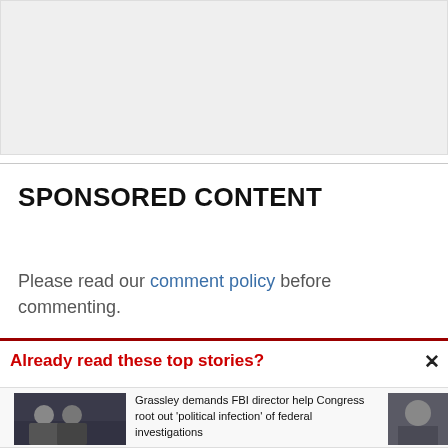[Figure (other): Advertisement placeholder box (gray background)]
SPONSORED CONTENT
Please read our comment policy before commenting.
Already read these top stories?
[Figure (photo): Photo of two men in suits shaking hands in a formal setting]
Grassley demands FBI director help Congress root out 'political infection' of federal investigations
[Figure (photo): Partial photo of a man in a suit looking serious]